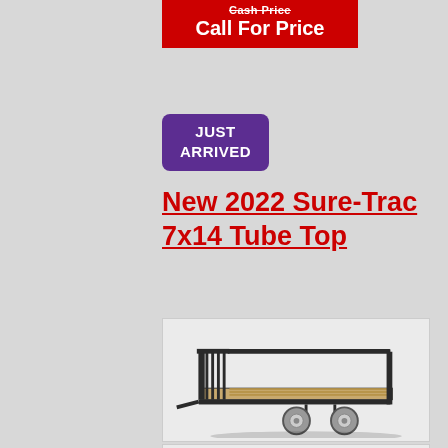Cash Price
Call For Price
JUST ARRIVED
New 2022 Sure-Trac 7x14 Tube Top
[Figure (photo): Image of a black Sure-Trac 7x14 Tube Top utility trailer with wood deck, dual axles, and pipe top rails]
[Figure (photo): No Image Available placeholder with circle-slash icon]